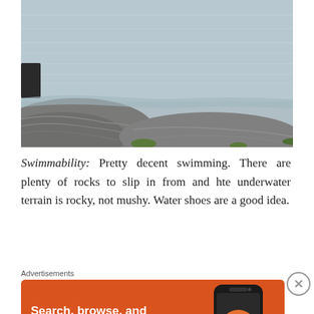[Figure (photo): Photo of a lake or fjord shoreline with flat rocky slabs in the foreground leading to calm grey water stretching to the background. A dark object (possible dock or rock) is visible at the left edge.]
Swimmability: Pretty decent swimming. There are plenty of rocks to slip in from and hte underwater terrain is rocky, not mushy. Water shoes are a good idea.
Advertisements
[Figure (screenshot): DuckDuckGo advertisement banner with orange background. Text reads: Search, browse, and email with more privacy. All in One Free App. Shows a phone graphic with DuckDuckGo logo and duck icon.]